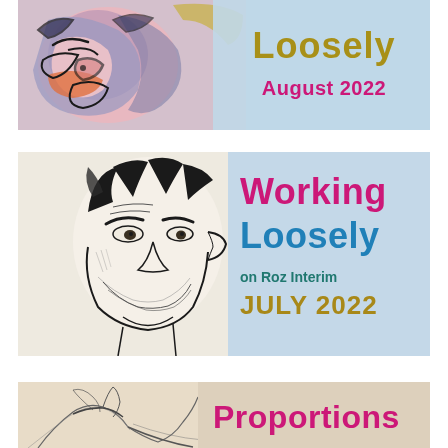[Figure (illustration): Top banner: Colorful abstract painted face/mask art on the left with pink, purple, blue hues. Text on right reads 'Loosely' in gold/olive and 'August 2022' in magenta, on light blue background.]
[Figure (illustration): Middle banner: Black and white ink drawing of a bearded man's face/portrait on the left. Text on right reads 'Working Loosely' in magenta and blue, 'on Roz Interim' in teal, 'JULY 2022' in gold, on light blue background.]
[Figure (illustration): Bottom banner: Light pencil/charcoal sketch of a figure (torso/shoulders) on the left. Text on right reads 'Proportions' in magenta, on light tan/beige background.]